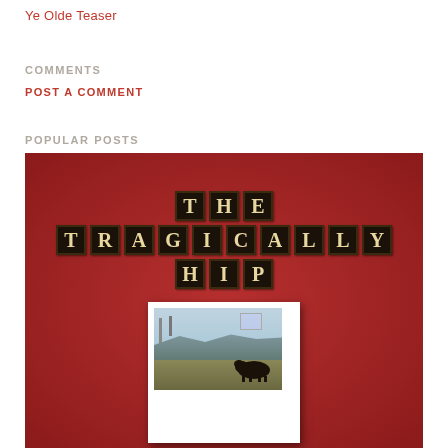Ye Olde Teaser
COMMENTS
POST A COMMENT
POPULAR POSTS
[Figure (photo): Album cover for The Tragically Hip featuring the band name spelled out in letter tiles against a red background, with a polaroid photo of a cow at a fairground below]